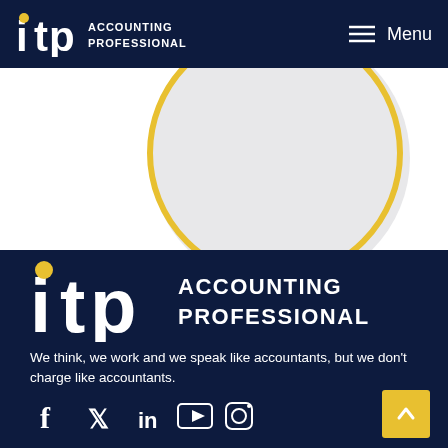ITP Accounting Professionals — Menu
[Figure (illustration): Decorative circle outline in yellow/gold color on a light gray background in the middle section of the page]
[Figure (logo): ITP Accounting Professionals logo — white text on dark navy background, large version in footer]
We think, we work and we speak like accountants, but we don't charge like accountants.
[Figure (infographic): Social media icons: Facebook, Twitter, LinkedIn, YouTube, Instagram — shown in white/yellow on dark navy background. Back-to-top button (yellow/gold) on the right.]